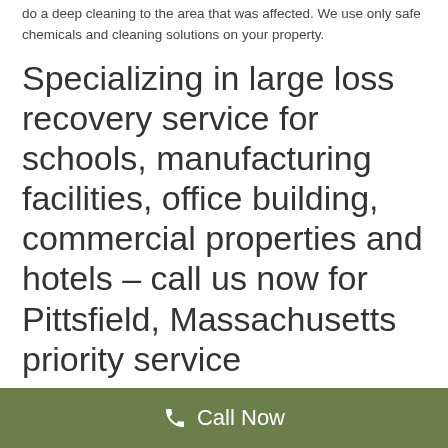do a deep cleaning to the area that was affected. We use only safe chemicals and cleaning solutions on your property.
Specializing in large loss recovery service for schools, manufacturing facilities, office building, commercial properties and hotels – call us now for Pittsfield, Massachusetts priority service
After we have cleaned the affected area, we will remove any lingering odors and use sanitizers to make sure the odors stay gone. We operate under strict guidelines, and follow all local codes and ordinances. 911 Water Damage Pros of Pittsfield, Massachusetts is fully licensed,
Call Now